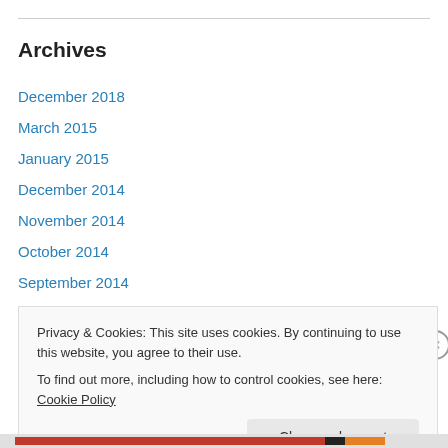Archives
December 2018
March 2015
January 2015
December 2014
November 2014
October 2014
September 2014
August 2014
July 2014
April 2014
Privacy & Cookies: This site uses cookies. By continuing to use this website, you agree to their use.
To find out more, including how to control cookies, see here: Cookie Policy